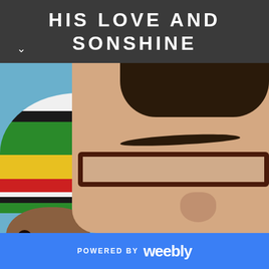HIS LOVE AND SONSHINE
[Figure (photo): Close-up photo of a person wearing glasses with dark frames, with a child wearing a colorful Rasta-style striped beanie hat (white, black, green, yellow, red stripes) in the foreground left. Blue wall in background.]
POWERED BY weebly